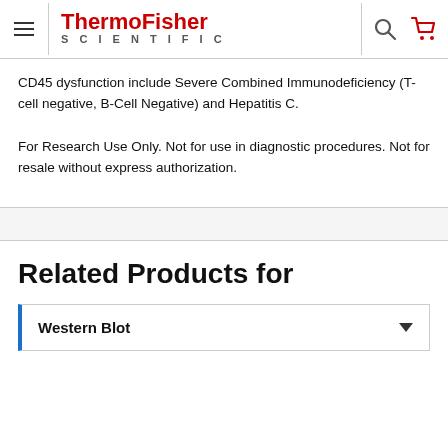ThermoFisher SCIENTIFIC
CD45 dysfunction include Severe Combined Immunodeficiency (T-cell negative, B-Cell Negative) and Hepatitis C.
For Research Use Only. Not for use in diagnostic procedures. Not for resale without express authorization.
Related Products for
Western Blot